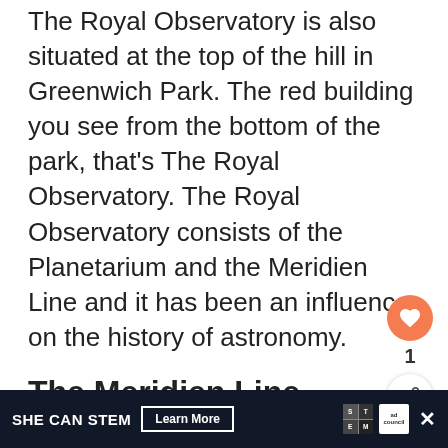The Royal Observatory is also situated at the top of the hill in Greenwich Park. The red building you see from the bottom of the park, that's The Royal Observatory. The Royal Observatory consists of the Planetarium and the Meridien Line and it has been an influence on the history of astronomy.
The Meridien Line
The Meridien Line consists of a line where east meets west and it was a great tool to navigate your way to certain destinations by using the sky and the stars as their map. In the 1800's, a lot...
[Figure (screenshot): UI overlay: heart/like button (orange circle), share button, count badge '1', and 'WHAT'S NEXT' thumbnail card for 'Top 10 Free Things to D...']
SHE CAN STEM   Learn More   [STEM logo] [Ad Council logo] ×